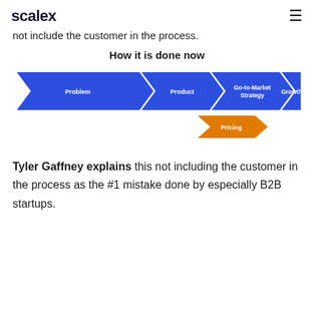scalex
not include the customer in the process.
[Figure (infographic): Process flow diagram titled 'How it is done now' showing chevron arrows in blue labeled: Problem, Product, Go-to-Market Strategy, Growth, with an orange chevron labeled Pricing appearing below the Go-to-Market Strategy arrow, indicating it is misplaced in the process.]
Tyler Gaffney explains this not including the customer in the process as the #1 mistake done by especially B2B startups.